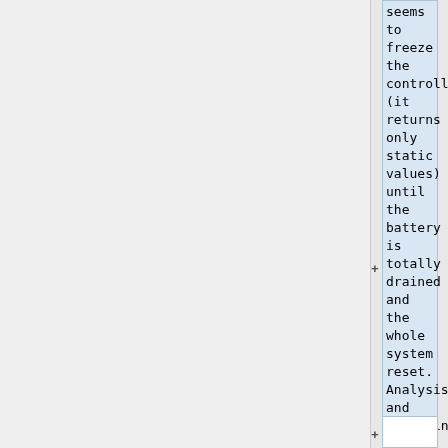seems to freeze the controller (it returns only static values) until the battery is totally drained and the whole system reset. Analysis and debugging is more than welcome! </del>